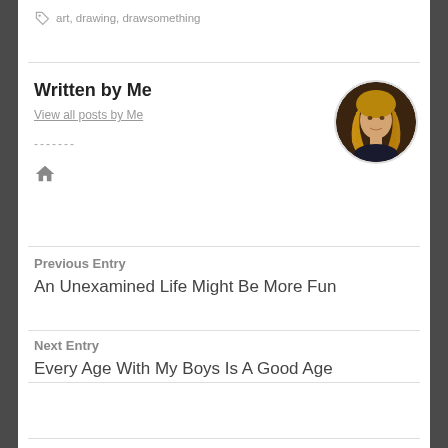art, drawing, drawsomething
Written by Me
View all posts by Me
[Figure (photo): Circular avatar photo of a woman with blonde hair, wearing a dark top, against a warm dark background]
Previous Entry
An Unexamined Life Might Be More Fun
Next Entry
Every Age With My Boys Is A Good Age